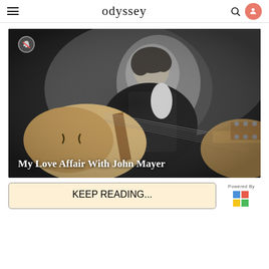odyssey
[Figure (photo): Black and white photo of a man (John Mayer) looking down while playing an archtop electric guitar, with text overlay reading 'My Love Affair With John Mayer']
My Love Affair With John Mayer
KEEP READING...